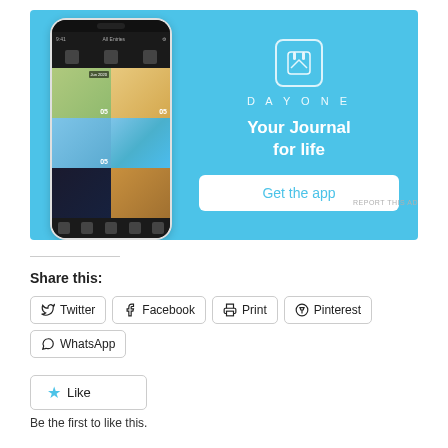[Figure (screenshot): DayOne app advertisement banner with blue background, showing a phone screenshot of the DayOne journaling app on the left and the DayOne logo, tagline 'Your Journal for life', and a 'Get the app' button on the right]
REPORT THIS AD
Share this:
Twitter
Facebook
Print
Pinterest
WhatsApp
Like
Be the first to like this.